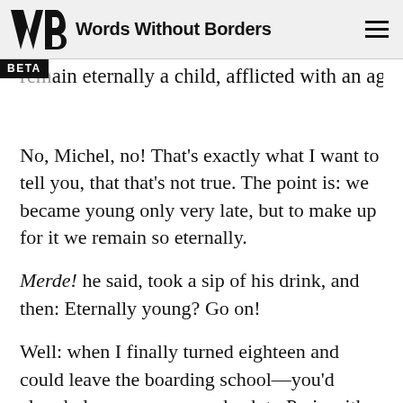Words Without Borders
remain eternally a child, afflicted with an aging
No, Michel, no! That's exactly what I want to tell you, that that's not true. The point is: we became young only very late, but to make up for it we remain so eternally.
Merde! he said, took a sip of his drink, and then: Eternally young? Go on!
Well: when I finally turned eighteen and could leave the boarding school—you'd already long gone back to Paris with your parents—I was nothing; too inexperienced to be able to make